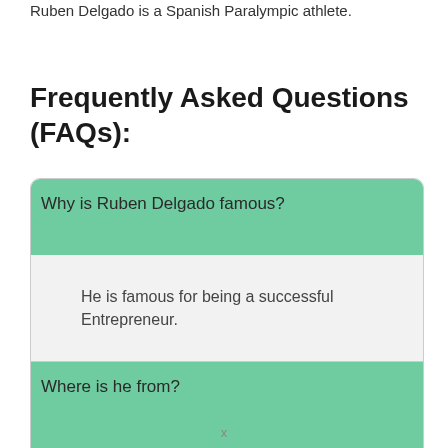Ruben Delgado is a Spanish Paralympic athlete.
Frequently Asked Questions (FAQs):
Why is Ruben Delgado famous?
He is famous for being a successful Entrepreneur.
Where is he from?